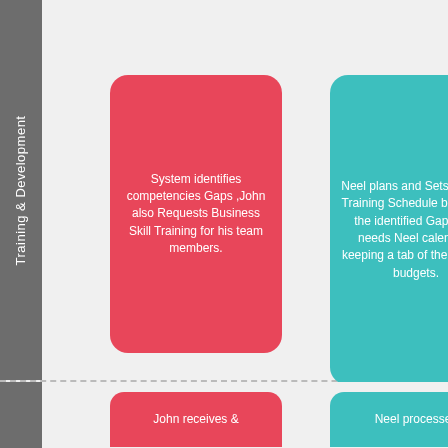Training & Development
System identifies competencies Gaps ,John also Requests Business Skill Training for his team members.
Neel plans and Sets up Skill Training Schedule based on the identified Gaps and needs Neel calendars keeping a tab of the training budgets.
John receives &
Neel processes